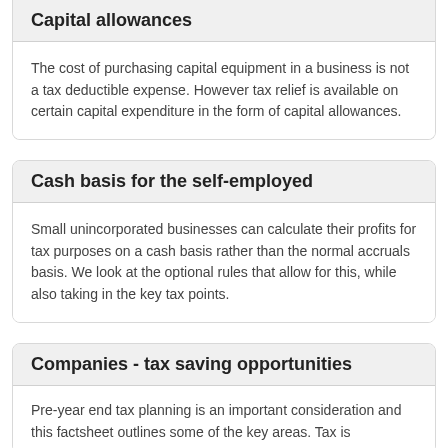Capital allowances
The cost of purchasing capital equipment in a business is not a tax deductible expense. However tax relief is available on certain capital expenditure in the form of capital allowances.
Cash basis for the self-employed
Small unincorporated businesses can calculate their profits for tax purposes on a cash basis rather than the normal accruals basis. We look at the optional rules that allow for this, while also taking in the key tax points.
Companies - tax saving opportunities
Pre-year end tax planning is an important consideration and this factsheet outlines some of the key areas. Tax is...